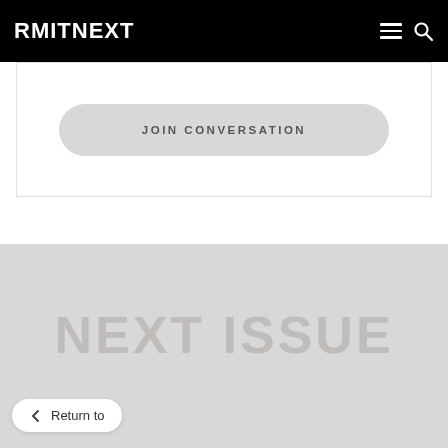RMITNEXT
JOIN CONVERSATION
[Figure (screenshot): Torn paper edge decorative element transitioning from white to light grey background]
[Figure (screenshot): Large faded watermark text in grey on light grey background]
Return to